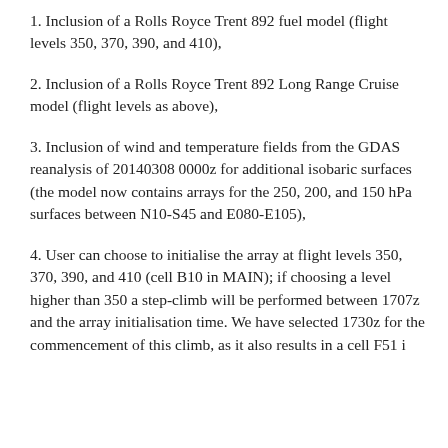1. Inclusion of a Rolls Royce Trent 892 fuel model (flight levels 350, 370, 390, and 410),
2. Inclusion of a Rolls Royce Trent 892 Long Range Cruise model (flight levels as above),
3. Inclusion of wind and temperature fields from the GDAS reanalysis of 20140308 0000z for additional isobaric surfaces (the model now contains arrays for the 250, 200, and 150 hPa surfaces between N10-S45 and E080-E105),
4. User can choose to initialise the array at flight levels 350, 370, 390, and 410 (cell B10 in MAIN); if choosing a level higher than 350 a step-climb will be performed between 1707z and the array initialisation time. We have selected 1730z for the commencement of this climb, as it also results in a cell F51 i...